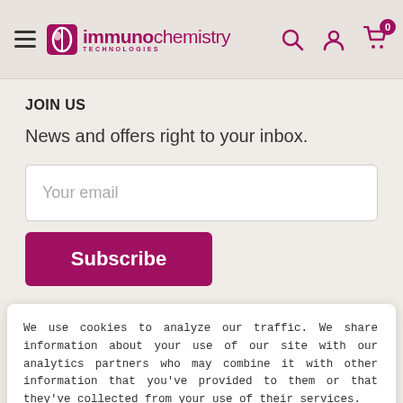immunochemistry TECHNOLOGIES
JOIN US
News and offers right to your inbox.
Your email
Subscribe
We use cookies to analyze our traffic. We share information about your use of our site with our analytics partners who may combine it with other information that you've provided to them or that they've collected from your use of their services.
Got It!